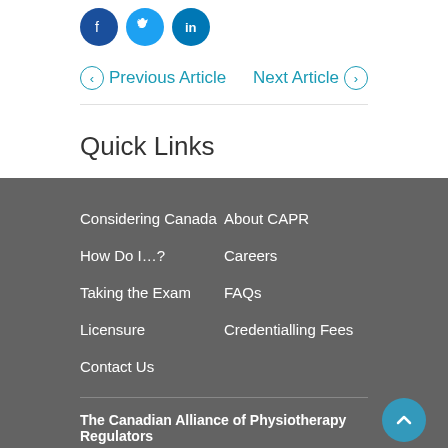[Figure (other): Three circular social media icons: Facebook (dark blue), Twitter (light blue), LinkedIn (dark blue)]
← Previous Article   Next Article →
Quick Links
Considering Canada
About CAPR
How Do I…?
Careers
Taking the Exam
FAQs
Licensure
Credentialling Fees
Contact Us
The Canadian Alliance of Physiotherapy Regulators
1243 Islington Avenue, Suite 501
Toronto, Ontario M8X 1Y0